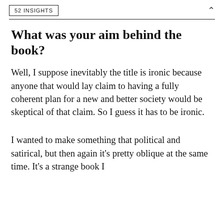52 INSIGHTS
What was your aim behind the book?
Well, I suppose inevitably the title is ironic because anyone that would lay claim to having a fully coherent plan for a new and better society would be skeptical of that claim. So I guess it has to be ironic.
I wanted to make something that political and satirical, but then again it's pretty oblique at the same time. It's a strange book I